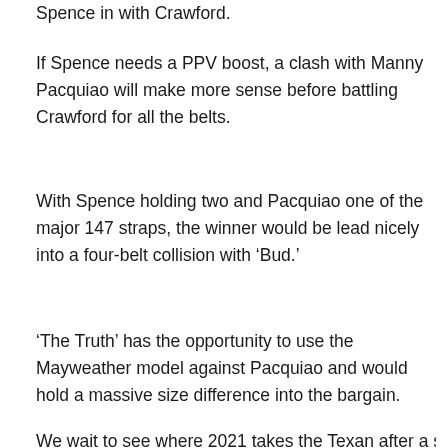Spence in with Crawford.
If Spence needs a PPV boost, a clash with Manny Pacquiao will make more sense before battling Crawford for all the belts.
With Spence holding two and Pacquiao one of the major 147 straps, the winner would be lead nicely into a four-belt collision with ‘Bud.’
‘The Truth’ has the opportunity to use the Mayweather model against Pacquiao and would hold a massive size difference into the bargain.
We wait to see where 2021 takes the Texan after a solid